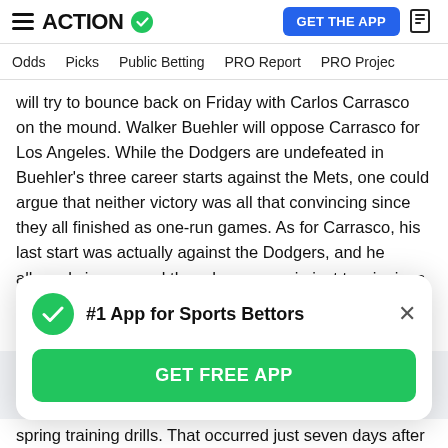ACTION ✓ | GET THE APP
Odds  Picks  Public Betting  PRO Report  PRO Project
will try to bounce back on Friday with Carlos Carrasco on the mound. Walker Buehler will oppose Carrasco for Los Angeles. While the Dodgers are undefeated in Buehler's three career starts against the Mets, one could argue that neither victory was all that convincing since they all finished as one-run games. As for Carrasco, his last start was actually against the Dodgers, and he allowed six runs and three home runs in just two innings.
Los Angeles is as high as a -265 favorite on Friday, so we'll need to be creative in finding how to approach this
[Figure (screenshot): App promotion modal: '#1 App for Sports Bettors' with green checkmark icon, close button, and green GET FREE APP button]
spring training drills. That occurred just seven days after